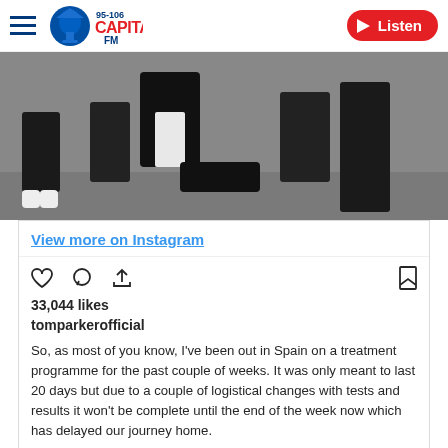95-106 Capital FM | Listen
[Figure (photo): Group of people sitting/standing against a grey wall, wearing black outfits, one in a white top.]
View more on Instagram
33,044 likes
tomparkerofficial
So, as most of you know, I've been out in Spain on a treatment programme for the past couple of weeks. It was only meant to last 20 days but due to a couple of logistical changes with tests and results it won't be complete until the end of the week now which has delayed our journey home.